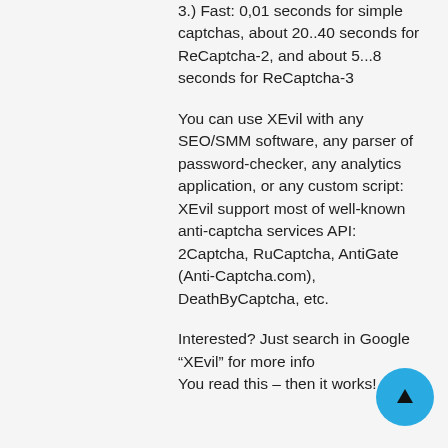3.) Fast: 0,01 seconds for simple captchas, about 20..40 seconds for ReCaptcha-2, and about 5...8 seconds for ReCaptcha-3
You can use XEvil with any SEO/SMM software, any parser of password-checker, any analytics application, or any custom script: XEvil support most of well-known anti-captcha services API: 2Captcha, RuCaptcha, AntiGate (Anti-Captcha.com), DeathByCaptcha, etc.
Interested? Just search in Google “XEvil” for more info
You read this – then it works! ;)))